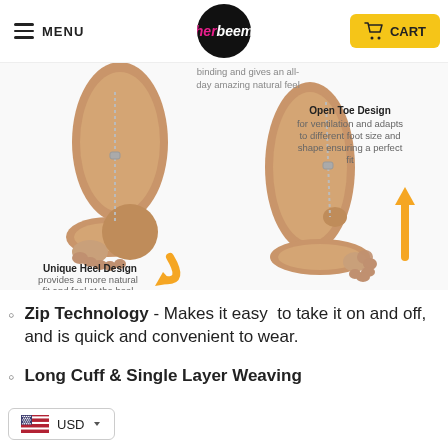MENU | herbeem | CART
[Figure (photo): Two feet/ankles wearing beige/nude compression socks with open toe design and zipper on the ankle. Left foot shown from back with unique heel design, right foot shown from side with open toe. Orange arrows pointing to each foot illustrating unique heel design and open toe design features.]
binding and gives an all-day amazing natural feel
Open Toe Design
for ventilation and adapts to different foot size and shape ensuring a perfect fit
Unique Heel Design
provides a more natural fit and feel at the heel
Zip Technology - Makes it easy to take it on and off, and is quick and convenient to wear.
Long Cuff & Single Layer Weaving